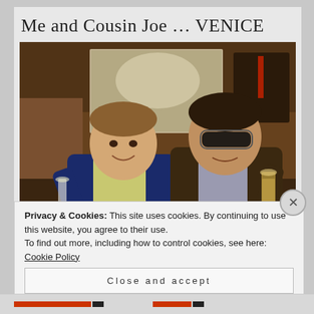Me and Cousin Joe … VENICE
[Figure (photo): Two men sitting in a wooden-paneled bar or restaurant, both holding up champagne/beer glasses toward the camera, toasting. The man on the left wears a blue blazer over a light yellow shirt. The man on the right wears sunglasses and a dark brown jacket. Behind them is a mirror and wooden wall decor.]
Privacy & Cookies: This site uses cookies. By continuing to use this website, you agree to their use.
To find out more, including how to control cookies, see here: Cookie Policy
Close and accept